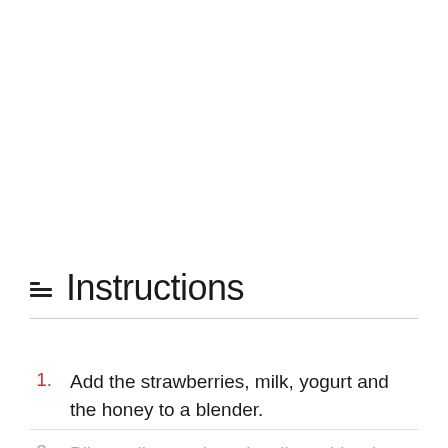Instructions
Add the strawberries, milk, yogurt and the honey to a blender.
Blitz until smooth and well combined.